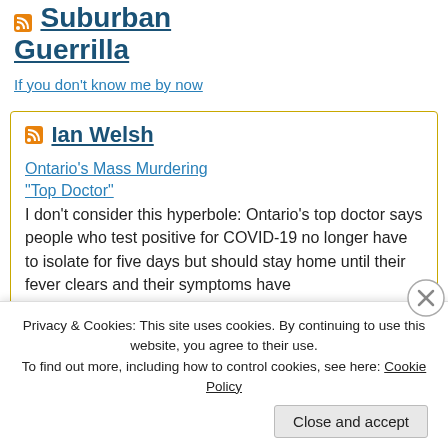Suburban Guerrilla
If you don't know me by now
Ian Welsh
Ontario's Mass Murdering "Top Doctor"
I don't consider this hyperbole: Ontario's top doctor says people who test positive for COVID-19 no longer have to isolate for five days but should stay home until their fever clears and their symptoms have
Privacy & Cookies: This site uses cookies. By continuing to use this website, you agree to their use.
To find out more, including how to control cookies, see here: Cookie Policy
Close and accept